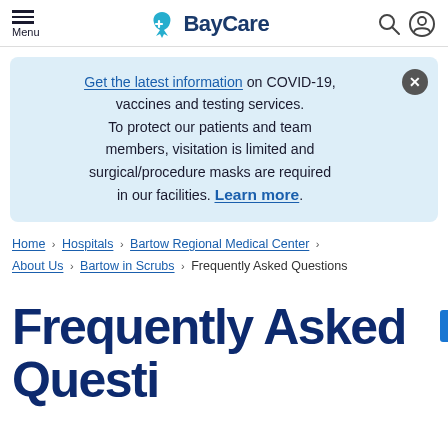Menu | BayCare | [search icon] [user icon]
Get the latest information on COVID-19, vaccines and testing services. To protect our patients and team members, visitation is limited and surgical/procedure masks are required in our facilities. Learn more.
Home > Hospitals > Bartow Regional Medical Center > About Us > Bartow in Scrubs > Frequently Asked Questions
Frequently Asked Questions